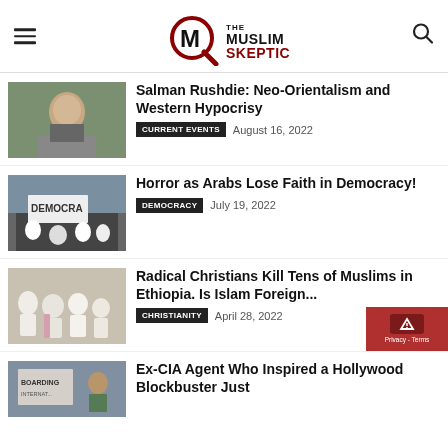The Muslim Skeptic
[Figure (photo): Portrait photo of Salman Rushdie]
Salman Rushdie: Neo-Orientalism and Western Hypocrisy
CURRENT EVENTS  August 16, 2022
[Figure (photo): Crowd at a democracy protest with sign reading DEMOCRACY]
Horror as Arabs Lose Faith in Democracy!
DEMOCRACY  July 19, 2022
[Figure (photo): Group of Muslims in white robes seated together]
Radical Christians Kill Tens of Muslims in Ethiopia. Is Islam Foreign...
CHRISTIANITY  April 28, 2022
[Figure (photo): Person holding a sign at a boarding/protest event]
Ex-CIA Agent Who Inspired a Hollywood Blockbuster Just